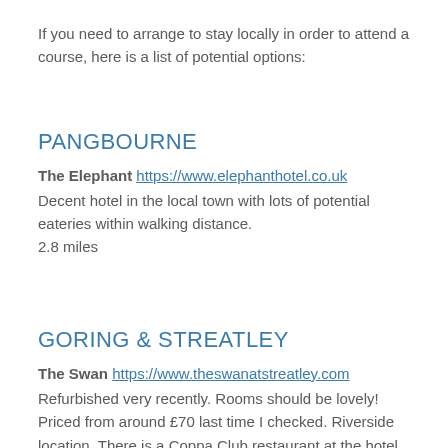If you need to arrange to stay locally in order to attend a course, here is a list of potential options:
PANGBOURNE
The Elephant https://www.elephanthotel.co.uk
Decent hotel in the local town with lots of potential eateries within walking distance.
2.8 miles
GORING & STREATLEY
The Swan https://www.theswanatstreatley.com
Refurbished very recently. Rooms should be lovely! Priced from around £70 last time I checked. Riverside location. There is a Coppa Club restaurant at the hotel which is excellent – open all day. Other good restaurants